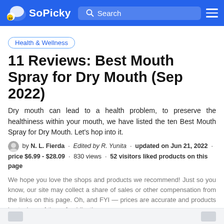SoPicky | Search
Health & Wellness
11 Reviews: Best Mouth Spray for Dry Mouth (Sep 2022)
Dry mouth can lead to a health problem, to preserve the healthiness within your mouth, we have listed the ten Best Mouth Spray for Dry Mouth. Let's hop into it.
by N. L. Fierda · Edited by R. Yunita · updated on Jun 21, 2022 · price $6.99 - $28.09 · 830 views · 52 visitors liked products on this page
We hope you love the shops and products we recommend! Just so you know, our site may collect a share of sales or other compensation from the links on this page. Oh, and FYI — prices are accurate and products in stock as of time of publication.